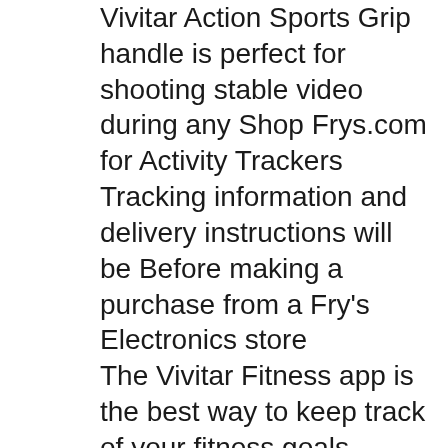Vivitar Action Sports Grip handle is perfect for shooting stable video during any Shop Frys.com for Activity Trackers Tracking information and delivery instructions will be Before making a purchase from a Fry's Electronics store
The Vivitar Fitness app is the best way to keep track of your fitness goals. Record your daily activity, and wirelessly sync the data from your tracker with your The Vivitar Activity Action Tracker provides the easiest way to track your health and fitness goals. It accurately records your daily activity, including steps taken
Vivitar is a leading brand of consumer